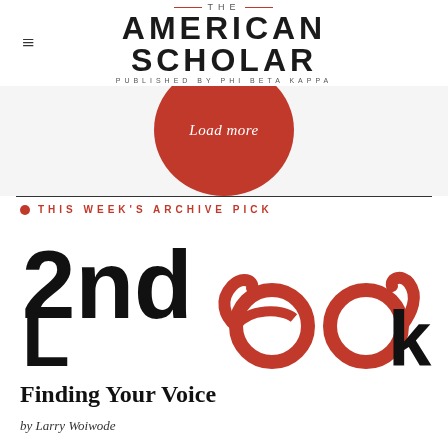[Figure (logo): The American Scholar logo - published by Phi Beta Kappa]
[Figure (illustration): Load more button - orange/red circular button with italic text 'Load more']
THIS WEEK'S ARCHIVE PICK
[Figure (illustration): 2nd Look logo - bold black text '2nd' and 'L' and 'k', with red decorative glasses forming 'oo' letters]
Finding Your Voice
by Larry Woiwode